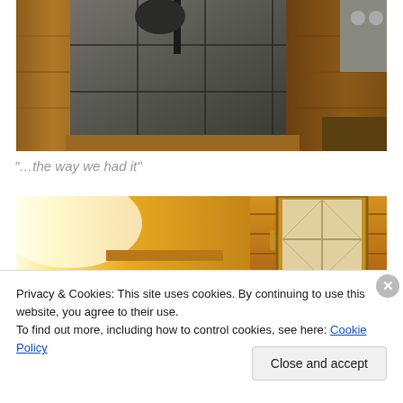[Figure (photo): Photo of dark slate floor tiles next to warm wood flooring, with an iron object and stainless steel appliance visible in background]
“…the way we had it”
[Figure (photo): Photo of a warm yellow-lit interior room with wood paneling and a window with decorative glass]
Privacy & Cookies: This site uses cookies. By continuing to use this website, you agree to their use.
To find out more, including how to control cookies, see here: Cookie Policy
Close and accept